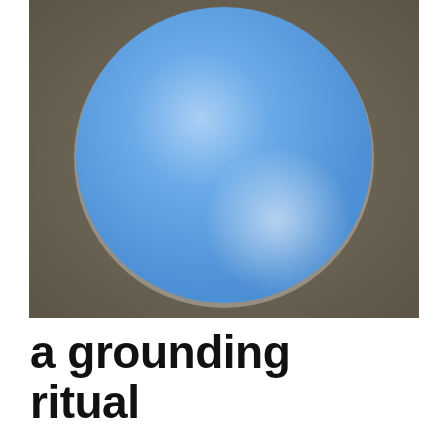[Figure (illustration): A large blue gradient circle centered on a muted olive-brown/taupe square background. The circle has a light sky-blue top fading to a slightly deeper blue at the bottom, with a subtle white highlight near the lower-right edge suggesting a 3D sphere effect.]
a grounding ritual